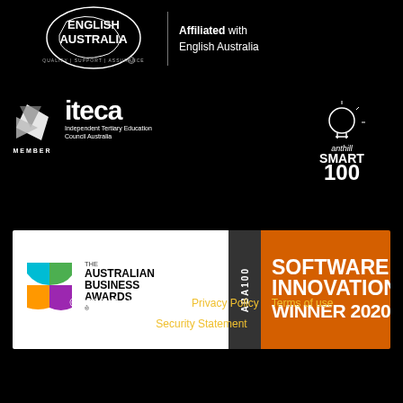[Figure (logo): English Australia logo with text 'QUALITY | SUPPORT | ASSURANCE' and affiliation text 'Affiliated with English Australia']
[Figure (logo): ITECA - Independent Tertiary Education Council Australia MEMBER logo]
[Figure (logo): Anthill Smart 100 logo]
[Figure (logo): The Australian Business Awards ABA100 Software Innovation Winner 2020]
© 2022 Meshed Group    Privacy Policy    Terms of use
Security Statement